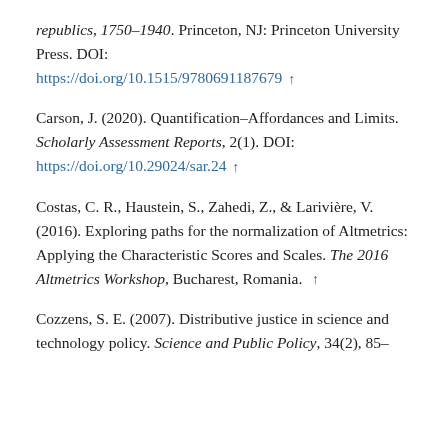republics, 1750–1940. Princeton, NJ: Princeton University Press. DOI: https://doi.org/10.1515/9780691187679 ↑
Carson, J. (2020). Quantification–Affordances and Limits. Scholarly Assessment Reports, 2(1). DOI: https://doi.org/10.29024/sar.24 ↑
Costas, C. R., Haustein, S., Zahedi, Z., & Larivière, V. (2016). Exploring paths for the normalization of Altmetrics: Applying the Characteristic Scores and Scales. The 2016 Altmetrics Workshop, Bucharest, Romania. ↑
Cozzens, S. E. (2007). Distributive justice in science and technology policy. Science and Public Policy, 34(2), 85–